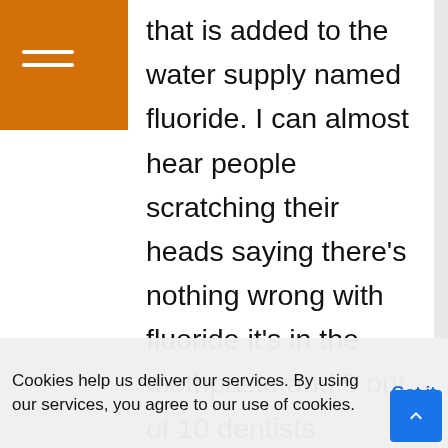[Figure (other): Orange sidebar with hamburger menu icon (three white horizontal lines)]
that is added to the water supply named fluoride. I can almost hear people scratching their heads saying there's nothing wrong with fluoride it's in the toothpaste and 9 out of 10 dentists reccommend it. Let the truth be known about fluoride. Sodium fluoride is a waste product of the alumimun industry. Fluoride is also used in rat poison and is the main chemical in the drug prozac. When you drink the good old muddy mississippi tap water you are actually being medicated with
Cookies help us deliver our services. By using our services, you agree to our use of cookies.
Got it